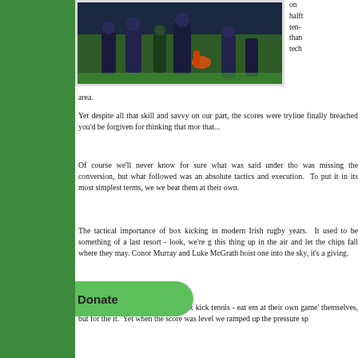[Figure (photo): Rugby players on a pitch, dark blue and green uniforms, action shot from below]
on half- ten- than tech area.
Yet despite all that skill and savvy on our part, the scores were tryline finally breached you'd be forgiven for thinking that mor that...
Of course we'll never know for sure what was said under tho was missing the conversion, but what followed was an absolute tactics and execution. To put it in its most simplest terms, we we beat them at their own.
The tactical importance of box kicking in modern Irish rugby years. It used to be something of a last resort - look, we're g this thing up in the air and let the chips fall where they may. Conor Murray and Luke McGrath hoist one into the sky, it's a giving.
s match there had been bouts of box kick tennis - eat em at their own game' themselves, but for the it. Yet when the score was level we ramped up the pressure sp